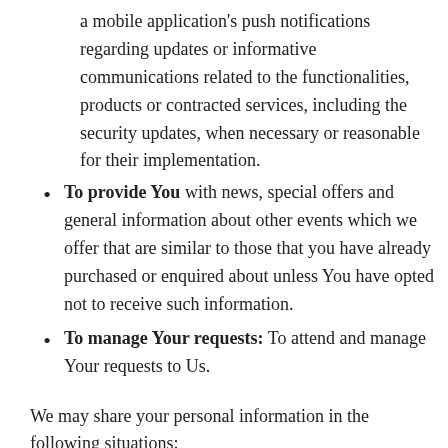a mobile application's push notifications regarding updates or informative communications related to the functionalities, products or contracted services, including the security updates, when necessary or reasonable for their implementation.
To provide You with news, special offers and general information about other events which we offer that are similar to those that you have already purchased or enquired about unless You have opted not to receive such information.
To manage Your requests: To attend and manage Your requests to Us.
We may share your personal information in the following situations: